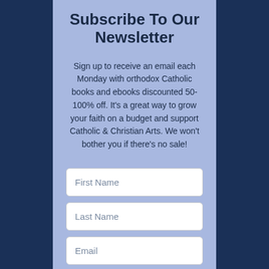Subscribe To Our Newsletter
Sign up to receive an email each Monday with orthodox Catholic books and ebooks discounted 50-100% off. It's a great way to grow your faith on a budget and support Catholic & Christian Arts. We won't bother you if there's no sale!
First Name
Last Name
Email